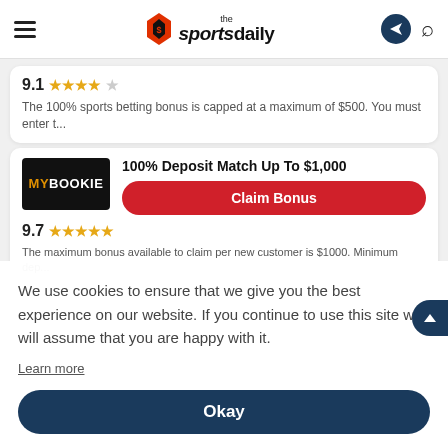the sportsdaily
9.1 ★★★★☆ The 100% sports betting bonus is capped at a maximum of $500. You must enter t...
[Figure (logo): MyBookie logo - black background with MYBOOKIE text in orange and white]
100% Deposit Match Up To $1,000
Claim Bonus
9.7 ★★★★★
The maximum bonus available to claim per new customer is $1000. Minimum dep...
We use cookies to ensure that we give you the best experience on our website. If you continue to use this site we will assume that you are happy with it.
Learn more
Okay